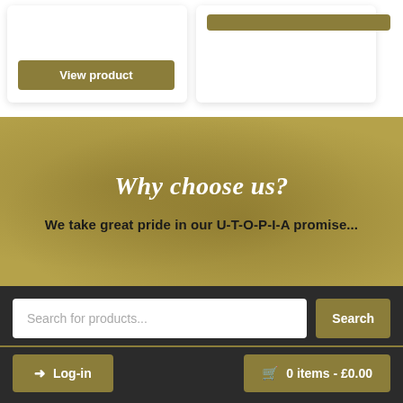[Figure (screenshot): Two product cards with olive/gold 'View product' buttons at the bottom, on white card backgrounds with shadows]
Why choose us?
We take great pride in our U-T-O-P-I-A promise...
Search for products...
Log-in
0 items - £0.00